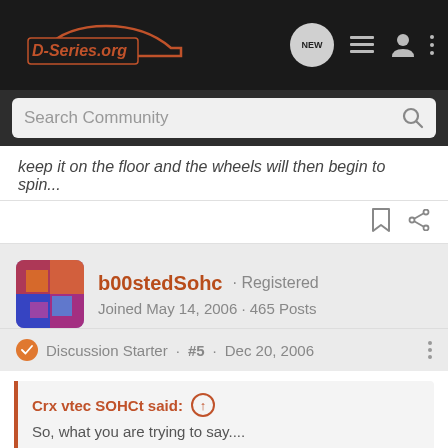D-Series.org
Search Community
keep it on the floor and the wheels will then begin to spin...
b00stedSohc · Registered
Joined May 14, 2006 · 465 Posts
Discussion Starter · #5 · Dec 20, 2006
Crx vtec SOHCt said:
So, what you are trying to say....